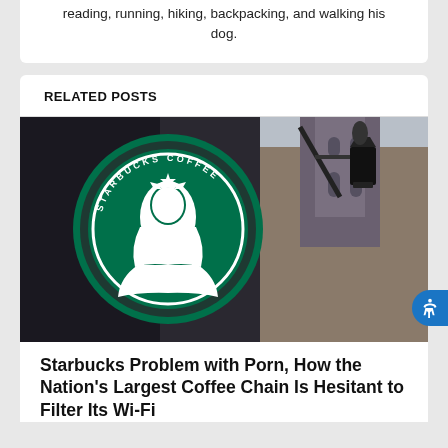reading, running, hiking, backpacking, and walking his dog.
RELATED POSTS
[Figure (photo): Starbucks logo sign mounted on a building exterior in an urban European setting with a street lamp and gothic church tower in the background]
Starbucks Problem with Porn, How the Nation's Largest Coffee Chain Is Hesitant to Filter Its Wi-Fi